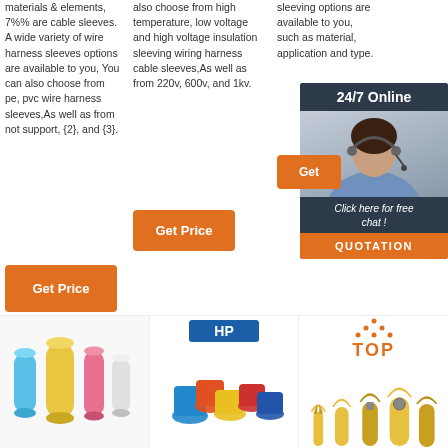materials & elements, 7%% are cable sleeves. A wide variety of wire harness sleeves options are available to you, You can also choose from pe, pvc wire harness sleeves,As well as from not support, {2}, and {3}.
also choose from high temperature, low voltage and high voltage insulation sleeving wiring harness cable sleeves,As well as from 220v, 600v, and 1kv.
sleeving options are available to you, such as material, application and type.
[Figure (infographic): 24/7 Online chat widget with woman wearing headset, dark background, orange Get button, Click here for free chat!, QUOTATION button]
Get Price (button, column 2)
Get Price (button, column 1)
[Figure (photo): Blue and yellow cylindrical wire sleeve connectors]
[Figure (photo): HP logo with mixed color wire connectors and terminals]
[Figure (photo): Yellow and metal fork/spade terminal connectors with TOP logo]